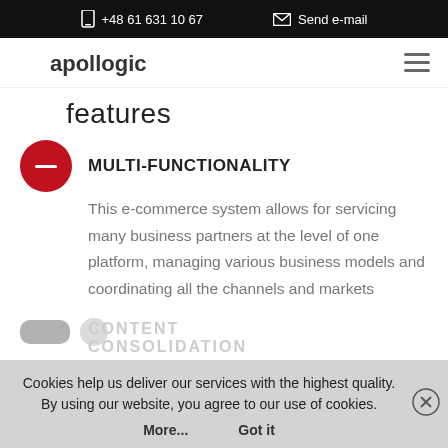+48 61 631 10 67   Send e-mail
[Figure (logo): Apollogic company logo — red crescent C shape with 'apollogic' text in dark grey]
features
MULTI-FUNCTIONALITY
This e-commerce system allows for servicing many business partners at the level of one platform, managing various business models and coordinating all the channels and markets
CONTENT CONSOLIDATION
Cookies help us deliver our services with the highest quality. By using our website, you agree to our use of cookies.
More...   Got it